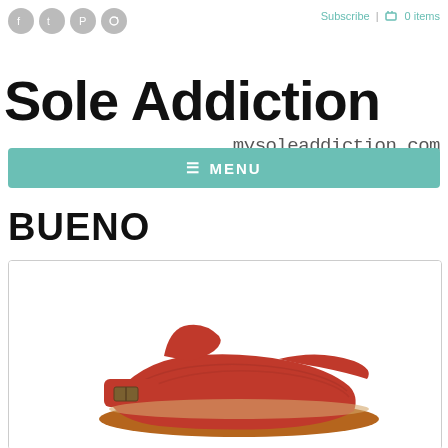Social icons (Facebook, Twitter, Pinterest, Instagram) | Subscribe | 0 items
Sole Addiction mysoleaddiction.com
[Figure (infographic): Teal menu bar with hamburger icon and MENU text]
BUENO
[Figure (photo): Product photo of a red/pink leather sandal with buckle strap on white background inside a bordered card]